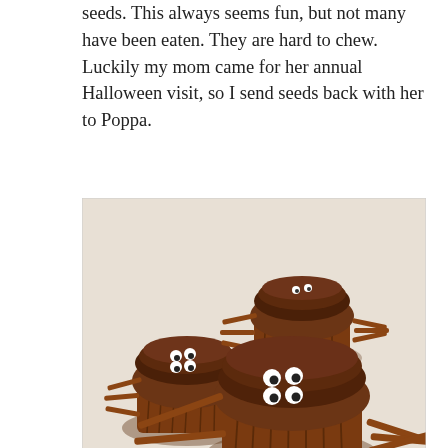seeds.  This always seems fun, but not many have been eaten.  They are hard to chew.  Luckily my mom came for her annual Halloween visit, so I send seeds back with her to Poppa.
[Figure (photo): Three chocolate cupcakes decorated to look like spiders, with chocolate frosting on top, pretzel stick legs, and candy eyes arranged in pairs.]
Instead of eating all the candy collected, here are the cute spider cupcakes we enjoyed.  We made a few for friends and neighbors too.  These are easy, but quite a hit.  Simply make your favorite chocolcate